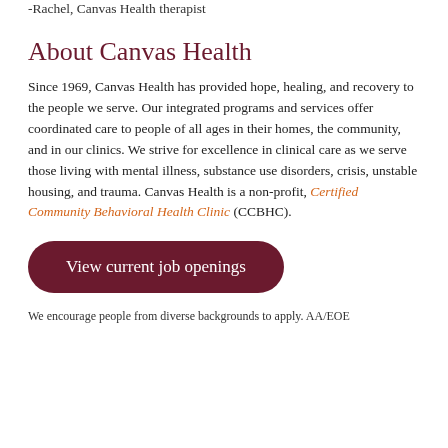-Rachel, Canvas Health therapist
About Canvas Health
Since 1969, Canvas Health has provided hope, healing, and recovery to the people we serve. Our integrated programs and services offer coordinated care to people of all ages in their homes, the community, and in our clinics. We strive for excellence in clinical care as we serve those living with mental illness, substance use disorders, crisis, unstable housing, and trauma. Canvas Health is a non-profit, Certified Community Behavioral Health Clinic (CCBHC).
View current job openings
We encourage people from diverse backgrounds to apply. AA/EOE